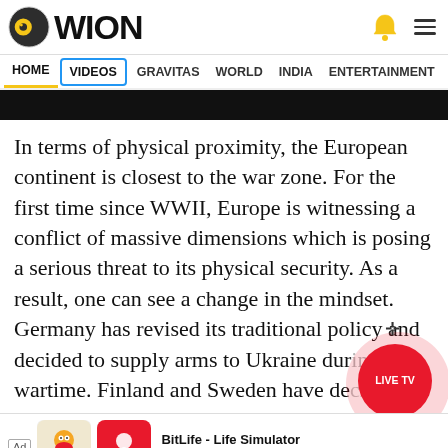WION
HOME | VIDEOS | GRAVITAS | WORLD | INDIA | ENTERTAINMENT | SPORTS
[Figure (screenshot): Black video bar at the top of the article]
In terms of physical proximity, the European continent is closest to the war zone. For the first time since WWII, Europe is witnessing a conflict of massive dimensions which is posing a serious threat to its physical security. As a result, one can see a change in the mindset. Germany has revised its traditional policy and decided to supply arms to Ukraine during wartime. Finland and Sweden have decided to give up their traditional policy of neutrality by seeking...
[Figure (screenshot): Ad banner: BitLife - Life Simulator with Install button]
[Figure (other): LIVE TV red circular button overlay]